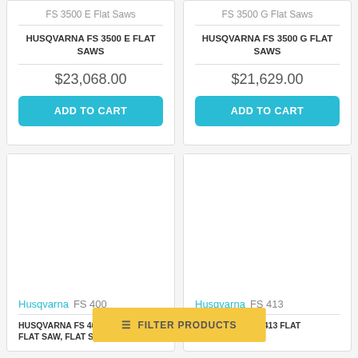FS 3500 E Flat Saws
HUSQVARNA FS 3500 E FLAT SAWS
$23,068.00
ADD TO CART
FS 3500 G Flat Saws
HUSQVARNA FS 3500 G FLAT SAWS
$21,629.00
ADD TO CART
[Figure (photo): Product image area for Husqvarna FS 400, blank/white]
Husqvarna  FS 400
HUSQVARNA FS 400, 20" FLAT SAW, FLAT SAWS
[Figure (photo): Product image area for Husqvarna FS 413, blank/white]
Husqvarna  FS 413
HUSQVARNA FS 413 FLAT SAW 965150107
≡  FILTER PRODUCTS